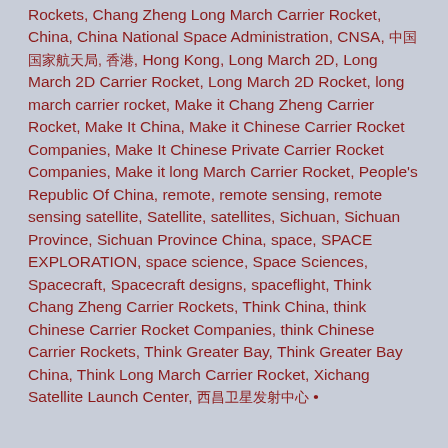Rockets, Chang Zheng Long March Carrier Rocket, China, China National Space Administration, CNSA, 中国国家航天局, 香港, Hong Kong, Long March 2D, Long March 2D Carrier Rocket, Long March 2D Rocket, long march carrier rocket, Make it Chang Zheng Carrier Rocket, Make It China, Make it Chinese Carrier Rocket Companies, Make It Chinese Private Carrier Rocket Companies, Make it long March Carrier Rocket, People's Republic Of China, remote, remote sensing, remote sensing satellite, Satellite, satellites, Sichuan, Sichuan Province, Sichuan Province China, space, SPACE EXPLORATION, space science, Space Sciences, Spacecraft, Spacecraft designs, spaceflight, Think Chang Zheng Carrier Rockets, Think China, think Chinese Carrier Rocket Companies, think Chinese Carrier Rockets, Think Greater Bay, Think Greater Bay China, Think Long March Carrier Rocket, Xichang Satellite Launch Center, 西昌卫星发射中心 •